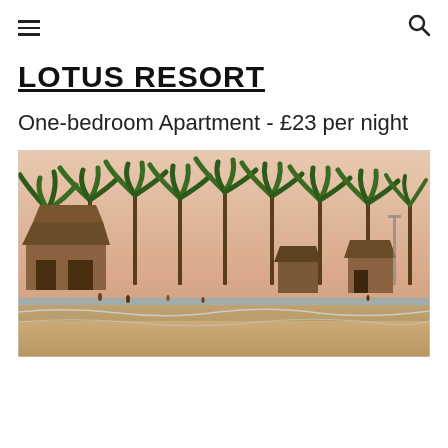≡  🔍
LOTUS RESORT
One-bedroom Apartment - £23 per night
[Figure (photo): Beach scene with palm trees, thatched hut restaurants and bars lining a sandy beach with gentle waves, people walking on the beach, at sunset/dusk with a pink sky. Tropical resort beach location, likely Goa, India.]